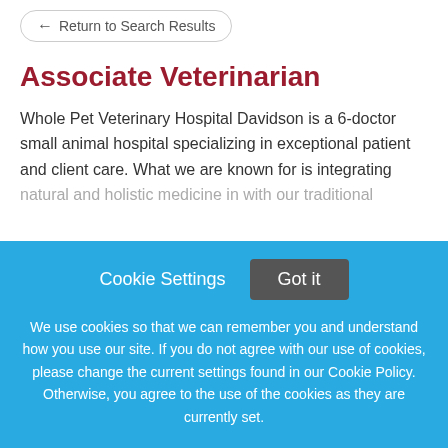← Return to Search Results
Associate Veterinarian
Whole Pet Veterinary Hospital Davidson is a 6-doctor small animal hospital specializing in exceptional patient and client care. What we are known for is integrating natural and holistic medicine in with our traditional
This job listing is no longer active.
Cookie Settings   Got it
We use cookies so that we can remember you and understand how you use our site. If you do not agree with our use of cookies, please change the current settings found in our Cookie Policy. Otherwise, you agree to the use of the cookies as they are currently set.